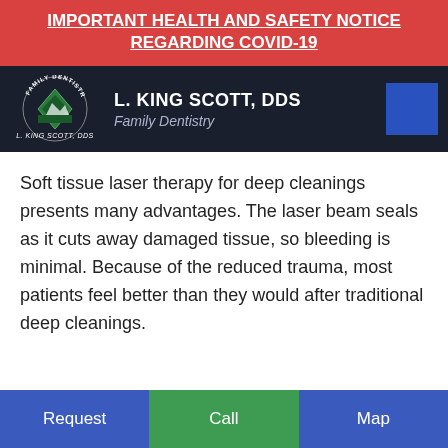IMPORTANT HEALTH AND SAFETY NOTICE REGARDING COVID-19
[Figure (logo): L. King Scott DDS Family Dentistry logo with diamond-shaped emblem on dark background]
Soft tissue laser therapy for deep cleanings presents many advantages. The laser beam seals as it cuts away damaged tissue, so bleeding is minimal. Because of the reduced trauma, most patients feel better than they would after traditional deep cleanings.
Request | Call | Map